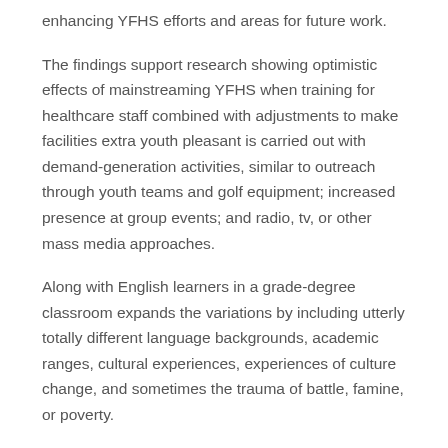enhancing YFHS efforts and areas for future work.
The findings support research showing optimistic effects of mainstreaming YFHS when training for healthcare staff combined with adjustments to make facilities extra youth pleasant is carried out with demand-generation activities, similar to outreach through youth teams and golf equipment; increased presence at group events; and radio, tv, or other mass media approaches.
Along with English learners in a grade-degree classroom expands the variations by including utterly totally different language backgrounds, academic ranges, cultural experiences, experiences of culture change, and sometimes the trauma of battle, famine, or poverty.
People who observe such a eating regimen may expertise dehydration, irregular durations (for ladies), kidney